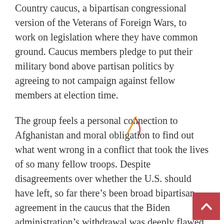Country caucus, a bipartisan congressional version of the Veterans of Foreign Wars, to work on legislation where they have common ground. Caucus members pledge to put their military bond above partisan politics by agreeing to not campaign against fellow members at election time.
The group feels a personal connection to Afghanistan and moral obligation to find out what went wrong in a conflict that took the lives of so many fellow troops. Despite disagreements over whether the U.S. should have left, so far there's been broad bipartisan agreement in the caucus that the Biden administration's withdrawal was deeply flawed.
“The fact is that we need to make sure that we hold this administration accountable to meet that first priority, leaving no American behind there, getting people out of there who we made promises to, but at the same time